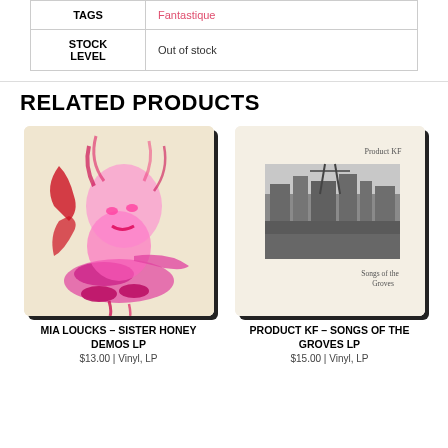|  |  |
| --- | --- |
| TAGS | Fantastique |
| STOCK LEVEL | Out of stock |
RELATED PRODUCTS
[Figure (illustration): Album cover for Mia Loucks - Sister Honey Demos LP: abstract pink and magenta illustration of a woman's face and figure on a cream/tan background]
MIA LOUCKS – SISTER HONEY DEMOS LP
$13.00 | Vinyl, LP
[Figure (illustration): Album cover for Product KF - Songs of the Groves LP: cream background with 'Product KF' text at top, a black and white photograph of an industrial/urban scene in the center, and 'Songs of the Groves' text at bottom right]
PRODUCT KF – SONGS OF THE GROVES LP
$15.00 | Vinyl, LP